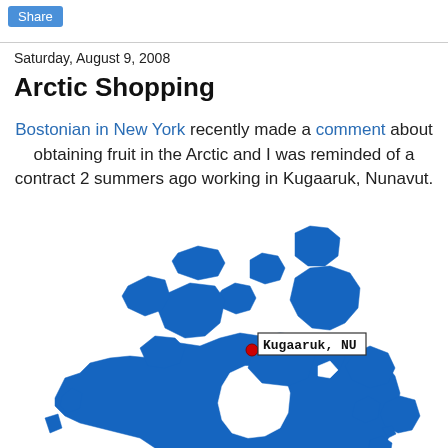Share
Saturday, August 9, 2008
Arctic Shopping
Bostonian in New York recently made a comment about obtaining fruit in the Arctic and I was reminded of a contract 2 summers ago working in Kugaaruk, Nunavut.
[Figure (map): Map of Canada (blue) with a red dot and tooltip label 'Kugaaruk, NU' marking the location of Kugaaruk in Nunavut, Canada.]